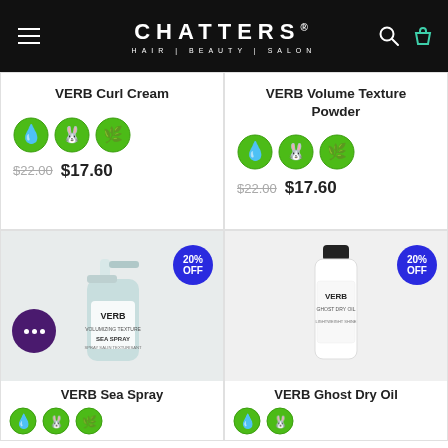CHATTERS HAIR | BEAUTY | SALON
VERB Curl Cream
$22.00  $17.60
VERB Volume Texture Powder
$22.00  $17.60
[Figure (photo): VERB Sea Spray product bottle with 20% OFF badge]
VERB Sea Spray
[Figure (photo): VERB Ghost Dry Oil product bottle with 20% OFF badge]
VERB Ghost Dry Oil